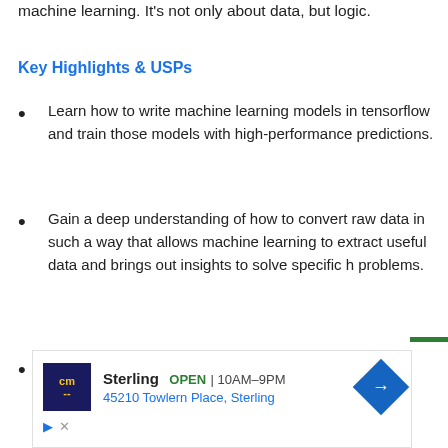machine learning. It's not only about data, but logic.
Key Highlights & USPs
Learn how to write machine learning models in tensorflow and train those models with high-performance predictions.
Gain a deep understanding of how to convert raw data in such a way that allows machine learning to extract useful data and brings out insights to solve specific h problems.
Get the chance to experiment with end-to-end
[Figure (other): Advertisement banner for Sterling store showing logo, OPEN status, hours 10AM-9PM, address 45210 Towlern Place, Sterling, and navigation arrow icon]